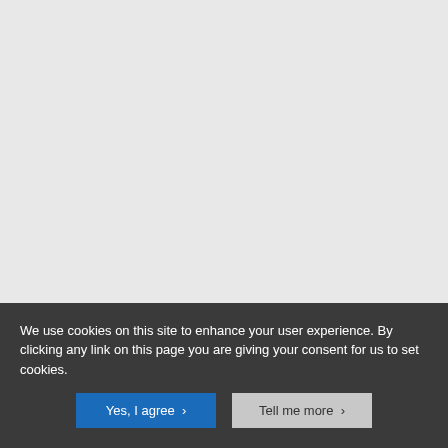[Figure (photo): Large grey/light grey area occupying the upper portion of the page, appears to be an image region that is mostly blank/grey]
The colour palette is restricted (most of Bawden's lithographs use no more than five colours) but effective, with blue, black and white accented with vivid shots of red and yellow. In the bottom right hand
We use cookies on this site to enhance your user experience. By clicking any link on this page you are giving your consent for us to set cookies.
Yes, I agree  >   Tell me more  >